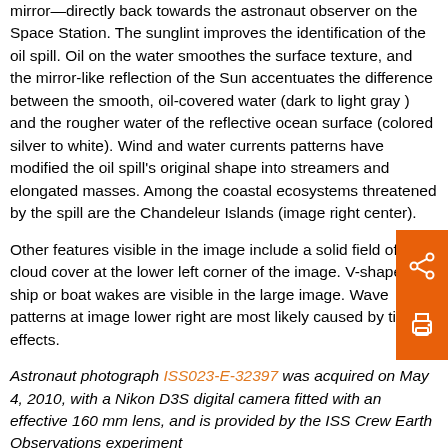mirror—directly back towards the astronaut observer on the Space Station. The sunglint improves the identification of the oil spill. Oil on the water smoothes the surface texture, and the mirror-like reflection of the Sun accentuates the difference between the smooth, oil-covered water (dark to light gray ) and the rougher water of the reflective ocean surface (colored silver to white). Wind and water currents patterns have modified the oil spill's original shape into streamers and elongated masses. Among the coastal ecosystems threatened by the spill are the Chandeleur Islands (image right center).
Other features visible in the image include a solid field of low cloud cover at the lower left corner of the image. V-shaped ship or boat wakes are visible in the large image. Wave patterns at image lower right are most likely caused by tidal effects.
Astronaut photograph ISS023-E-32397 was acquired on May 4, 2010, with a Nikon D3S digital camera fitted with an effective 160 mm lens, and is provided by the ISS Crew Earth Observations experiment and Image Science & Analysis Laboratory, Johnson Space Center. The image was taken by the Expedition 23 crew. The image in this article has been cropped and enhanced to improve contrast. Lens artifacts have been removed. The International Space Station Program supports the laboratory as part of the ISS National Lab to help astronauts take pictures of Earth that will be of the greatest value to